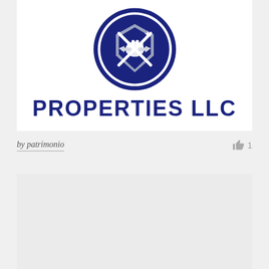[Figure (logo): A circular dark navy blue logo featuring a shield with a star and crossed tools/arrows with a hand, above the text PROPERTIES LLC in bold navy uppercase letters]
by patrimonio
1
[Figure (other): Light gray empty card/placeholder area at the bottom of the page]